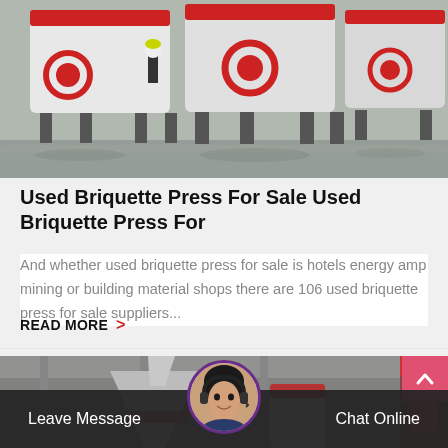[Figure (photo): Industrial machinery — large red and white briquette press machines in a factory, with a worker in a yellow helmet visible]
Used Briquette Press For Sale Used Briquette Press For
And whether used briquette press for sale is hotels energy amp mining or building material shops there are 106 used briquette press for sale suppliers...
READ MORE  >
[Figure (photo): Industrial cone crusher or similar large mining/milling equipment in a factory setting, partially visible]
Leave Message    Chat Online